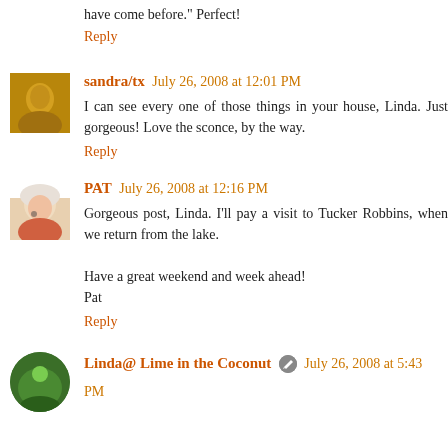have come before." Perfect!
Reply
[Figure (photo): Avatar photo of sandra/tx]
sandra/tx July 26, 2008 at 12:01 PM
I can see every one of those things in your house, Linda. Just gorgeous! Love the sconce, by the way.
Reply
[Figure (photo): Avatar photo of PAT]
PAT July 26, 2008 at 12:16 PM
Gorgeous post, Linda. I'll pay a visit to Tucker Robbins, when we return from the lake.

Have a great weekend and week ahead!
Pat
Reply
[Figure (photo): Avatar photo of Linda@ Lime in the Coconut]
Linda@ Lime in the Coconut July 26, 2008 at 5:43 PM